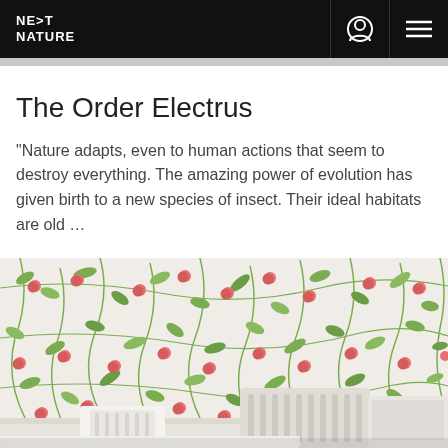NEXT NATURE
The Order Electrus
"Nature adapts, even to human actions that seem to destroy everything. The amazing power of evolution has given birth to a new species of insect. Their ideal habitats are old …
[Figure (photo): Interior room scene with floral cherry-pattern wallpaper in pink and green on a white background, with white furniture including what appears to be a radiator cover and chairs visible in the lower portion of the image.]